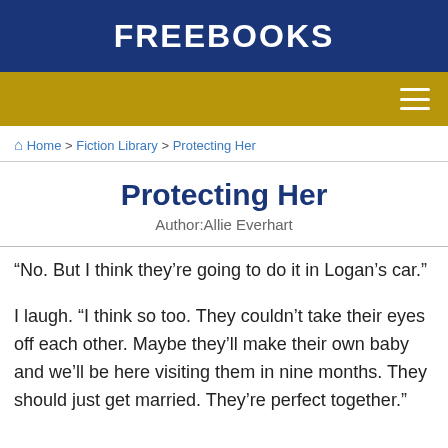FREEBOOKS
[Figure (other): Gold navigation bar with hamburger menu icon]
🏠 Home > Fiction Library > Protecting Her
Protecting Her
Author: Allie Everhart
“No. But I think they’re going to do it in Logan’s car.”
I laugh. “I think so too. They couldn’t take their eyes off each other. Maybe they’ll make their own baby and we’ll be here visiting them in nine months. They should just get married. They’re perfect together.”